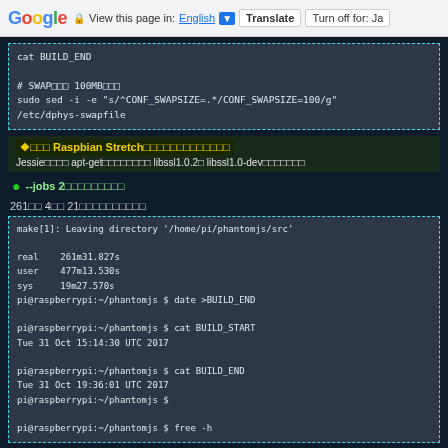Google | View this page in: English | Translate | Turn off for: Ja
cat BUILD_END

# SWAP□□□ 100MB□□□
sudo sed -i -e "s/^CONF_SWAPSIZE=.*/CONF_SWAPSIZE=100/g" /etc/dphys-swapfile
❖□□□ Raspbian Stretch□□□□□□□□□□□□□
Jessie□□□□ apt-get□□□□□□□□ libssl1.0.2□ libssl1.0-dev□□□□□□□
--jobs 2□□□□□□□□□
261□□ 4□□ 21□□□□□□□□□□
make[1]: Leaving directory '/home/pi/phantomjs/src'

real    261m31.827s
user    477m13.530s
sys     19m27.570s
pi@raspberrypi:~/phantomjs $ date >BUILD_END

pi@raspberrypi:~/phantomjs $ cat BUILD_START
Tue 31 Oct 15:14:30 UTC 2017

pi@raspberrypi:~/phantomjs $ cat BUILD_END
Tue 31 Oct 19:36:01 UTC 2017
pi@raspberrypi:~/phantomjs $

pi@raspberrypi:~/phantomjs $ free -h